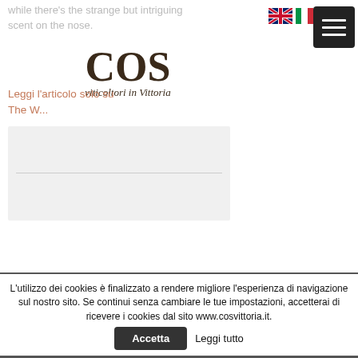while there's the strange but intriguing scent on the nose.
[Figure (logo): COS viticoltori in Vittoria logo — large serif bold 'COS' text with italic subtitle 'viticoltori in Vittoria']
Leggi l'articolo solo su The W...
[Figure (screenshot): Gray input form box with a horizontal divider line in the middle]
[Figure (other): UK flag icon (Union Jack) for language selection]
[Figure (other): Italian flag icon for language selection]
[Figure (other): Hamburger menu button (dark square with three white horizontal bars)]
L'utilizzo dei cookies è finalizzato a rendere migliore l'esperienza di navigazione sul nostro sito. Se continui senza cambiare le tue impostazioni, accetterai di ricevere i cookies dal sito www.cosvittoria.it.
Accetta
Leggi tutto